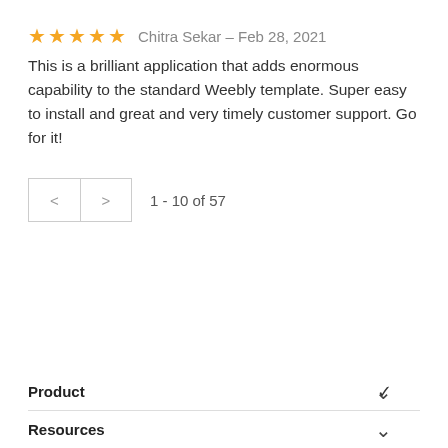★★★★★  Chitra Sekar – Feb 28, 2021
This is a brilliant application that adds enormous capability to the standard Weebly template. Super easy to install and great and very timely customer support. Go for it!
1 - 10 of 57
Product
Resources